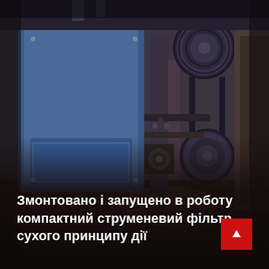[Figure (photo): Industrial machinery photo showing a compact jet filter / crusher machine with blue housing and large gear/belt drive wheels on the right side. The machine sits on a ground with gravel/ore material visible. Dark red overlay gradient at the bottom.]
Змонтовано і запущено в роботу компактний струменевий фільтр сухого принципу дії